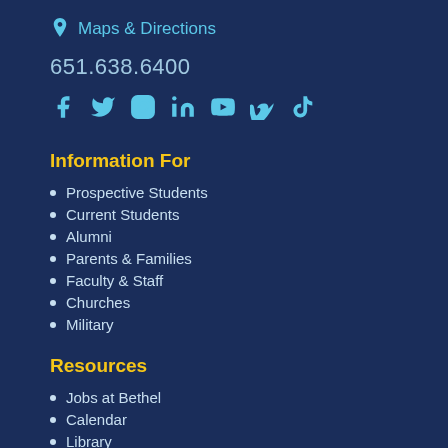Maps & Directions
651.638.6400
[Figure (infographic): Social media icons row: Facebook, Twitter, Instagram, LinkedIn, YouTube, Vimeo, TikTok — all in light blue]
Information For
Prospective Students
Current Students
Alumni
Parents & Families
Faculty & Staff
Churches
Military
Resources
Jobs at Bethel
Calendar
Library